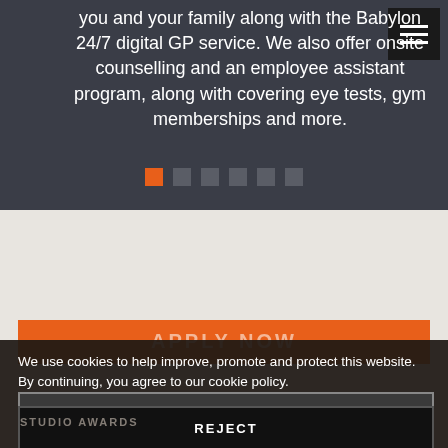you and your family along with the Babylon 24/7 digital GP service. We also offer onsite counselling and an employee assistant program, along with covering eye tests, gym memberships and more.
[Figure (infographic): Carousel navigation dots: 6 squares, first one orange (active), remaining 5 dark grey]
[Figure (infographic): Orange button bar with text APPLY NOW]
We use cookies to help improve, promote and protect this website. By continuing, you agree to our cookie policy.
ACCEPT
REJECT
STUDIO AWARDS